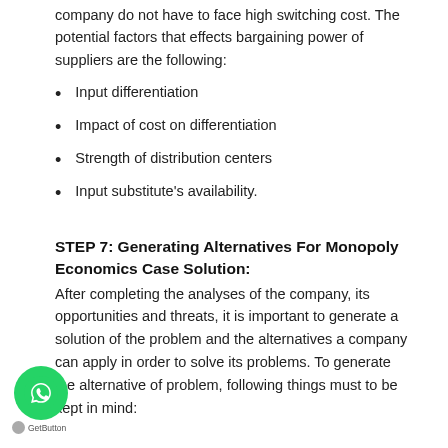company do not have to face high switching cost. The potential factors that effects bargaining power of suppliers are the following:
Input differentiation
Impact of cost on differentiation
Strength of distribution centers
Input substitute's availability.
STEP 7: Generating Alternatives For Monopoly Economics Case Solution:
After completing the analyses of the company, its opportunities and threats, it is important to generate a solution of the problem and the alternatives a company can apply in order to solve its problems. To generate the alternative of problem, following things must to be kept in mind: